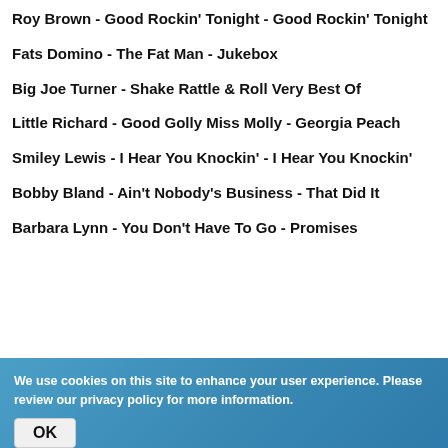Roy Brown - Good Rockin' Tonight - Good Rockin' Tonight
Fats Domino - The Fat Man - Jukebox
Big Joe Turner -  Shake Rattle & Roll Very Best Of
Little Richard - Good Golly Miss Molly - Georgia Peach
Smiley Lewis - I Hear You Knockin' - I Hear You Knockin'
Bobby Bland - Ain't Nobody's Business - That Did It
Barbara Lynn - You Don't Have To Go - Promises
We use cookies on this site to enhance your user experience. Please review our privacy policy for more information.